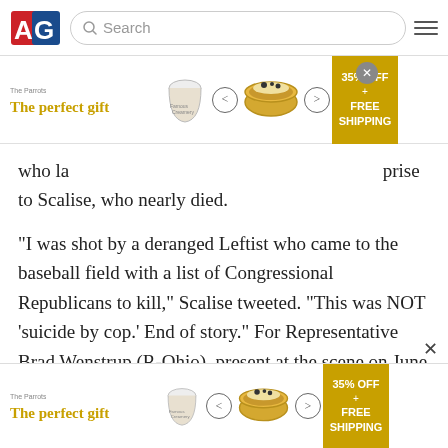AG [logo] Search [menu icon]
[Figure (other): Advertisement banner: 'The perfect gift' with bowl imagery and 35% OFF + FREE SHIPPING offer]
who la[...] Hodgk[...] prise to Scalise, who nearly died.
“I was shot by a deranged Leftist who came to the baseball field with a list of Congressional Republicans to kill,” Scalise tweeted. “This was NOT ‘suicide by cop.’ End of story.” For Representative Brad Wenstrup (R-Ohio), present at the scene on June 14, 2017, the official designation defied the facts of the case. Hodgkinson had murderous intent, was heavily armed, and sought cover during the shooting.
[Figure (other): Advertisement banner at bottom: 'The perfect gift' with bowl imagery and 35% OFF + FREE SHIPPING offer]